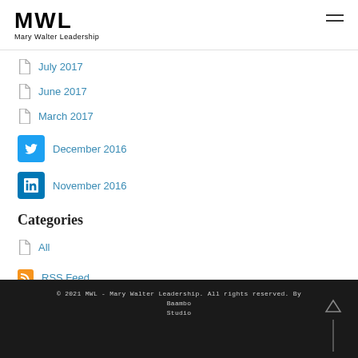MWL Mary Walter Leadership
July 2017
June 2017
March 2017
December 2016
November 2016
Categories
All
RSS Feed
© 2021 MWL - Mary Walter Leadership. All rights reserved. By Baambo Studio